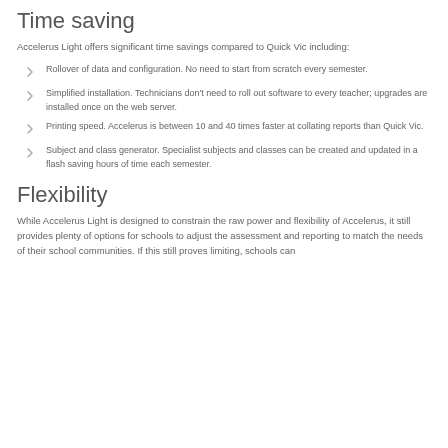Time saving
Accelerus Light offers significant time savings compared to Quick Vic including:
Rollover of data and configuration. No need to start from scratch every semester.
Simplified installation. Technicians don't need to roll out software to every teacher; upgrades are installed once on the web server.
Printing speed. Accelerus is between 10 and 40 times faster at collating reports than Quick Vic.
Subject and class generator. Specialist subjects and classes can be created and updated in a flash saving hours of time each semester.
Flexibility
While Accelerus Light is designed to constrain the raw power and flexibility of Accelerus, it still provides plenty of options for schools to adjust the assessment and reporting to match the needs of their school communities. If this still proves limiting, schools can